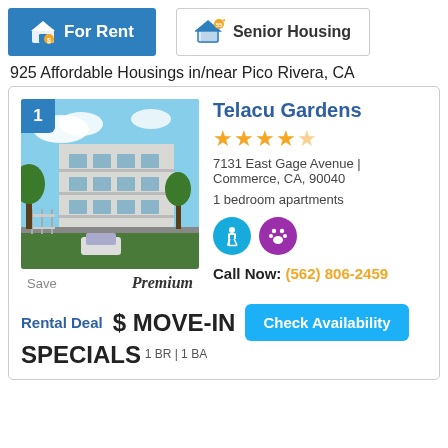For Rent | Senior Housing
925 Affordable Housings in/near Pico Rivera, CA
Telacu Gardens
[Figure (photo): Exterior photo of Telacu Gardens apartment building, a multi-story white building with balconies and trees in the foreground]
★★★★★
7131 East Gage Avenue | Commerce, CA, 90040
1 bedroom apartments
Call Now: (562) 806-2459
Rental Deal $ MOVE-IN SPECIALS 1 BR | 1 BA
Check Availability